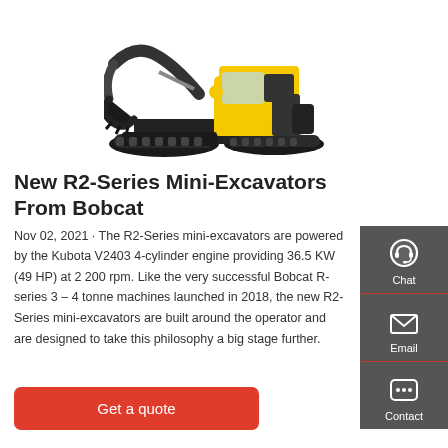[Figure (photo): Yellow and black Bobcat R2-Series mini-excavator with bucket attachment, shown from the front-right angle]
New R2-Series Mini-Excavators From Bobcat
Nov 02, 2021 · The R2-Series mini-excavators are powered by the Kubota V2403 4-cylinder engine providing 36.5 KW (49 HP) at 2 200 rpm. Like the very successful Bobcat R-series 3 – 4 tonne machines launched in 2018, the new R2-Series mini-excavators are built around the operator and are designed to take this philosophy a big stage further.
[Figure (infographic): Sidebar with Chat, Email, and Contact icons on dark grey background]
Get a quote